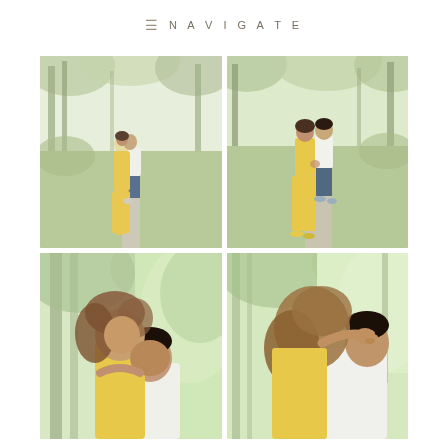≡  NAVIGATE
[Figure (photo): Couple kissing on a gravel path through green trees; woman in long yellow dress, man in white shirt and blue shorts]
[Figure (photo): Couple embracing face-to-face on a gravel path; woman in yellow dress, man in white shirt and blue shorts]
[Figure (photo): Close-up of couple kissing outdoors in nature; woman in yellow, man in white]
[Figure (photo): Close-up of woman resting her head/hands on man's neck from behind, outdoors in green trees]